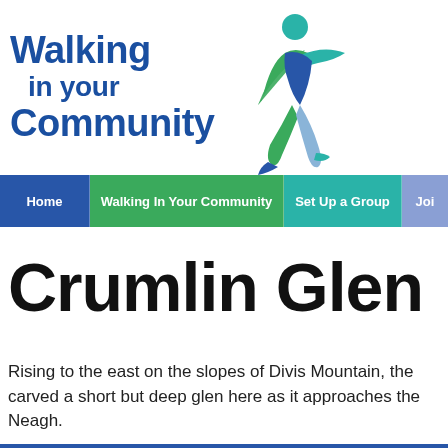[Figure (logo): Walking in your Community logo with blue text and a walking figure illustration in teal, green, and blue]
Home | Walking In Your Community | Set Up a Group | Joi
Crumlin Glen
Rising to the east on the slopes of Divis Mountain, the carved a short but deep glen here as it approaches the Neagh.